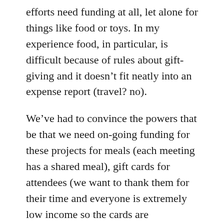efforts need funding at all, let alone for things like food or toys. In my experience food, in particular, is difficult because of rules about gift-giving and it doesn’t fit neatly into an expense report (travel? no).
We’ve had to convince the powers that be that we need on-going funding for these projects for meals (each meeting has a shared meal), gift cards for attendees (we want to thank them for their time and everyone is extremely low income so the cards are appreciated), and fidget toys to